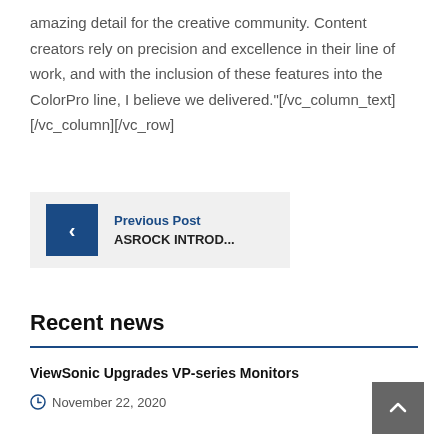amazing detail for the creative community. Content creators rely on precision and excellence in their line of work, and with the inclusion of these features into the ColorPro line, I believe we delivered."[/vc_column_text][/vc_column][/vc_row]
Previous Post
ASROCK INTROD...
Recent news
ViewSonic Upgrades VP-series Monitors
November 22, 2020